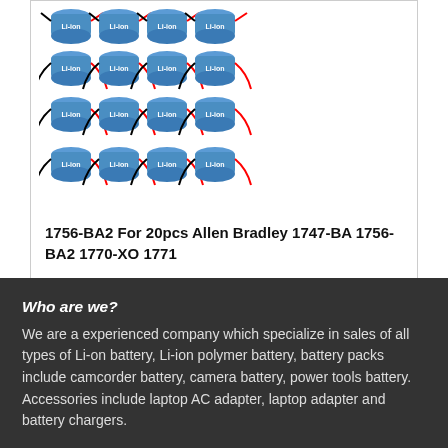[Figure (photo): Grid of 20 blue cylindrical batteries with red and black wires attached]
1756-BA2 For 20pcs Allen Bradley 1747-BA 1756-BA2 1770-XO 1771
£116.7
Who are we?
We are a experienced company which specialize in sales of all types of Li-on battery, Li-ion polymer battery, battery packs include camcorder battery, camera battery, power tools battery. Accessories include laptop AC adapter, laptop adapter and battery chargers.